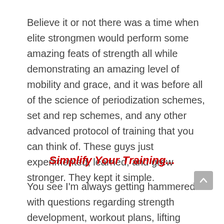Believe it or not there was a time when elite strongmen would perform some amazing feats of strength all while demonstrating an amazing level of mobility and grace, and it was before all of the science of periodization schemes, set and rep schemes, and any other advanced protocol of training that you can think of. These guys just experimented, learned, and grew stronger. They kept it simple.
Simplify Your Training...
You see I'm always getting hammered with questions regarding strength development, workout plans, lifting technique, etc. This is quite alright though because I love helping folks out, but at the same I like to remind people that it's always an experiment